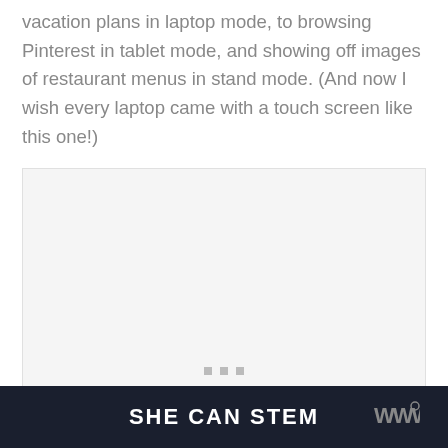vacation plans in laptop mode, to browsing Pinterest in tablet mode, and showing off images of restaurant menus in stand mode. (And now I wish every laptop came with a touch screen like this one!)
[Figure (photo): A large image placeholder (light gray box) with three small square dots at the bottom center, likely a slideshow or carousel image viewer.]
SHE CAN STEM